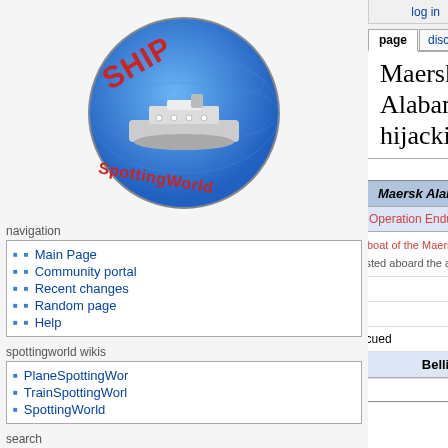log in
page | discussion | view source | history
[Figure (logo): ShipSpottingWorld logo - circular blue globe with a cruise ship and red text SHIP SpottingWorld]
navigation
Main Page
Community portal
Recent changes
Random page
Help
spottingworld wikis
PlaneSpottingWor...
TrainSpottingWorl...
SpottingWorld
search
Search Ships [Go] [Search]
tools
Maersk Alabama hijacking
| Maersk Alabama hijacking |
| --- |
| Part of the Operation Enduring Freedom - Horn of Africa |
| File:Lifeboat of the Maersk Alabama, after capture.jpg
The lifeboat from the Maersk Alabama is hoisted aboard the amphibious assault ship USS Boxer to be processed for evidence. |
| Date | April 8-12, 2009 |
| Location | 240 miles of the coast of Somalia |
| Result | United States victory, hostage rescued |
| Belligerents |
| 23px United States Navy | Somali Pirates |